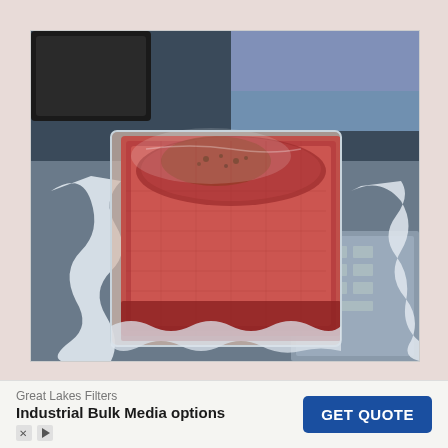[Figure (photo): A raw steak or cut of beef vacuum-sealed in a clear plastic bag, placed on a flat surface. The meat is reddish-pink with seasoning visible, and the vacuum seal bag has ruffled edges. A keyboard is partially visible in the background.]
Great Lakes Filters
Industrial Bulk Media options
GET QUOTE